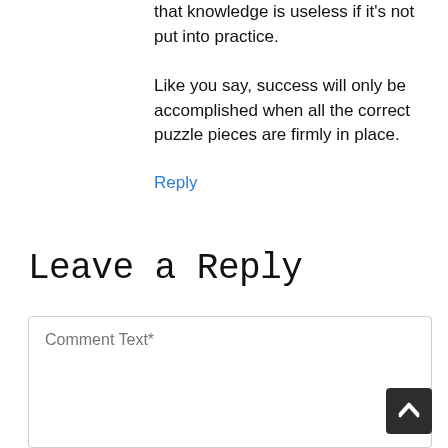that knowledge is useless if it's not put into practice.
Like you say, success will only be accomplished when all the correct puzzle pieces are firmly in place.
Reply
Leave a Reply
[Figure (screenshot): Comment text input textarea with placeholder text 'Comment Text*' and a dark scroll-to-top button in the bottom right corner]